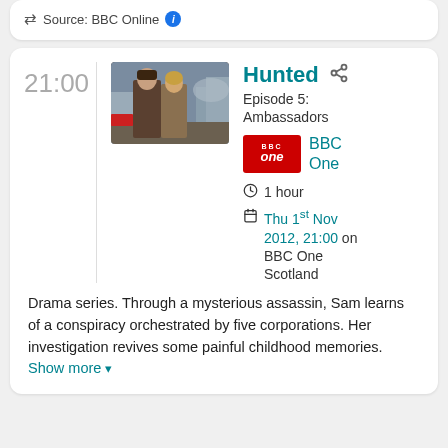Source: BBC Online
21:00
[Figure (photo): Two people standing outdoors in a city setting, a man and a woman, appears to be London backdrop]
Hunted
Episode 5: Ambassadors
BBC One
1 hour
Thu 1st Nov 2012, 21:00 on BBC One Scotland
Drama series. Through a mysterious assassin, Sam learns of a conspiracy orchestrated by five corporations. Her investigation revives some painful childhood memories. Show more ▾